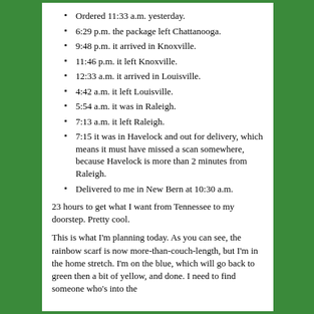Ordered 11:33 a.m. yesterday.
6:29 p.m. the package left Chattanooga.
9:48 p.m. it arrived in Knoxville.
11:46 p.m. it left Knoxville.
12:33 a.m. it arrived in Louisville.
4:42 a.m. it left Louisville.
5:54 a.m. it was in Raleigh.
7:13 a.m. it left Raleigh.
7:15 it was in Havelock and out for delivery, which means it must have missed a scan somewhere, because Havelock is more than 2 minutes from Raleigh.
Delivered to me in New Bern at 10:30 a.m.
23 hours to get what I want from Tennessee to my doorstep. Pretty cool.
This is what I'm planning today. As you can see, the rainbow scarf is now more-than-couch-length, but I'm in the home stretch. I'm on the blue, which will go back to green then a bit of yellow, and done. I need to find someone who's into the